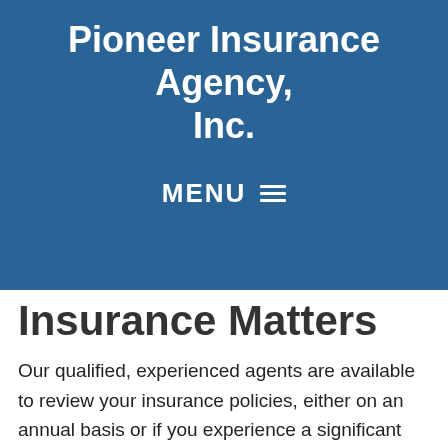Pioneer Insurance Agency, Inc.
MENU ≡
Insurance Matters
Our qualified, experienced agents are available to review your insurance policies, either on an annual basis or if you experience a significant change in your life circumstances. We will work closely with you to ensure your insurances are in order and arranged so that your plan matches your wishes for your beneficiaries. We invite you to take advantage